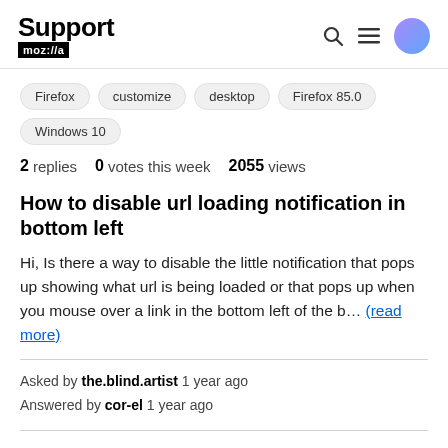Support moz://a
Firefox
customize
desktop
Firefox 85.0
Windows 10
2 replies   0 votes this week   2055 views
How to disable url loading notification in bottom left
Hi, Is there a way to disable the little notification that pops up showing what url is being loaded or that pops up when you mouse over a link in the bottom left of the b… (read more)
Asked by the.blind.artist 1 year ago
Answered by cor-el 1 year ago